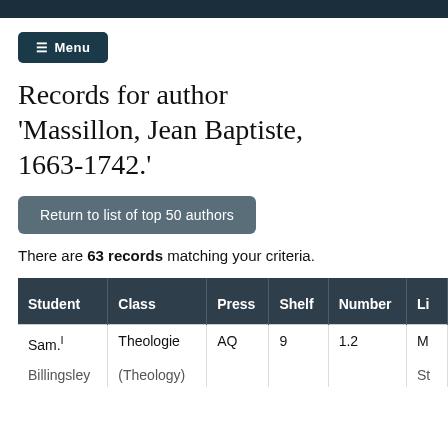≡ Menu
Records for author 'Massillon, Jean Baptiste, 1663-1742.'
Return to list of top 50 authors
There are 63 records matching your criteria.
| Student | Class | Press | Shelf | Number | Li |
| --- | --- | --- | --- | --- | --- |
| Sam.¹ Billingsley | Theologie (Theology) | AQ | 9 | 1.2 | M St |